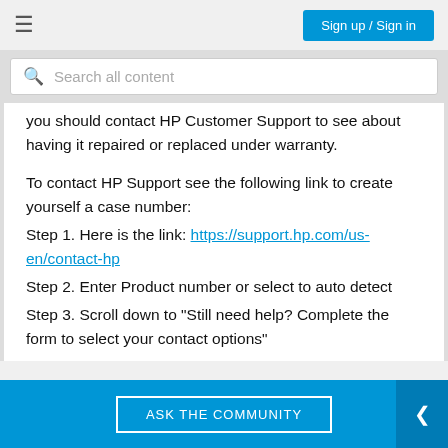Sign up / Sign in
Search all content
you should contact HP Customer Support to see about having it repaired or replaced under warranty.
To contact HP Support see the following link to create yourself a case number:
Step 1. Here is the link: https://support.hp.com/us-en/contact-hp
Step 2. Enter Product number or select to auto detect
Step 3. Scroll down to "Still need help? Complete the form to select your contact options"
ASK THE COMMUNITY